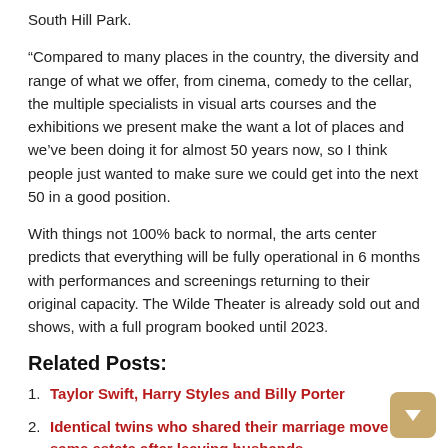South Hill Park.
“Compared to many places in the country, the diversity and range of what we offer, from cinema, comedy to the cellar, the multiple specialists in visual arts courses and the exhibitions we present make the want a lot of places and we’ve been doing it for almost 50 years now, so I think people just wanted to make sure we could get into the next 50 in a good position.
With things not 100% back to normal, the arts center predicts that everything will be fully operational in 6 months with performances and screenings returning to their original capacity. The Wilde Theater is already sold out and shows, with a full program booked until 2023.
Related Posts:
Taylor Swift, Harry Styles and Billy Porter
Identical twins who shared their marriage move to same estate after leaving husbands
Foreign investors: will UK real estate remain a long-term investment choice?